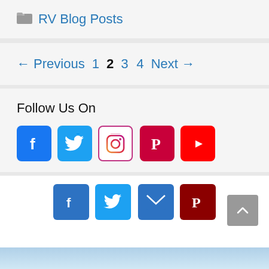📁 RV Blog Posts
← Previous 1 2 3 4 Next →
Follow Us On
[Figure (infographic): Social media icons: Facebook, Twitter, Instagram, Pinterest, YouTube]
[Figure (infographic): Bottom social share icons: Facebook, Twitter, Email, Pinterest]